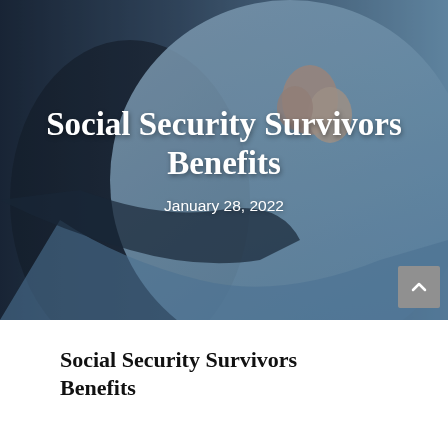[Figure (photo): Two people sitting together, one in dark clothing and one in a light blue top, with hands clasped together. The image serves as a hero banner background for the document about Social Security Survivors Benefits. Overlaid text reads 'Social Security Survivors Benefits' and 'January 28, 2022'.]
Social Security Survivors Benefits
January 28, 2022
Social Security Survivors Benefits